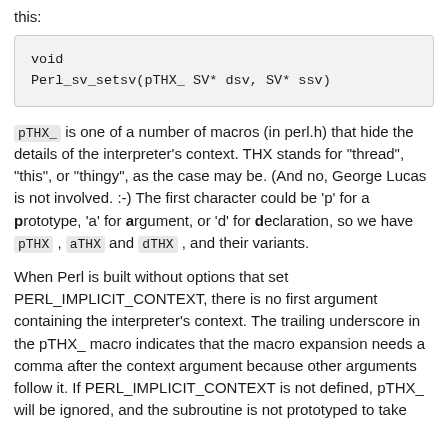this:
void
Perl_sv_setsv(pTHX_ SV* dsv, SV* ssv)
pTHX_ is one of a number of macros (in perl.h) that hide the details of the interpreter's context. THX stands for "thread", "this", or "thingy", as the case may be. (And no, George Lucas is not involved. :-) The first character could be 'p' for a prototype, 'a' for argument, or 'd' for declaration, so we have pTHX , aTHX and dTHX , and their variants.
When Perl is built without options that set PERL_IMPLICIT_CONTEXT, there is no first argument containing the interpreter's context. The trailing underscore in the pTHX_ macro indicates that the macro expansion needs a comma after the context argument because other arguments follow it. If PERL_IMPLICIT_CONTEXT is not defined, pTHX_ will be ignored, and the subroutine is not prototyped to take